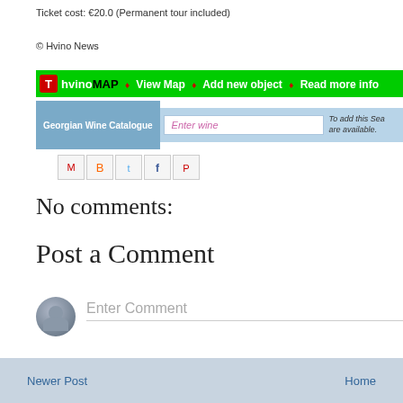Ticket cost: €20.0 (Permanent tour included)
© Hvino News
[Figure (screenshot): HvinoMAP navigation bar with options: View Map, Add new object, Read more info]
[Figure (screenshot): Georgian Wine Catalogue search bar with Enter wine input field and partial text 'To add this Sea... are available.']
[Figure (screenshot): Social share icons: Gmail, Blogger, Twitter, Facebook, Pinterest]
No comments:
Post a Comment
Enter Comment
Newer Post    Home